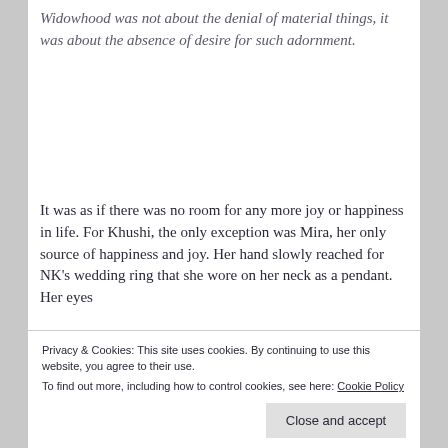Widowhood was not about the denial of material things, it was about the absence of desire for such adornment.
It was as if there was no room for any more joy or happiness in life. For Khushi, the only exception was Mira, her only source of happiness and joy. Her hand slowly reached for NK's wedding ring that she wore on her neck as a pendant. Her eyes
Privacy & Cookies: This site uses cookies. By continuing to use this website, you agree to their use.
To find out more, including how to control cookies, see here: Cookie Policy
Close and accept